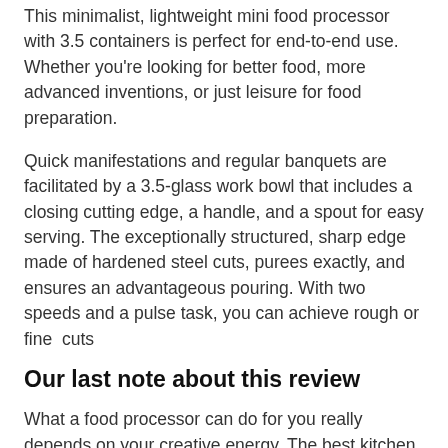This minimalist, lightweight mini food processor with 3.5 containers is perfect for end-to-end use. Whether you're looking for better food, more advanced inventions, or just leisure for food preparation.
Quick manifestations and regular banquets are facilitated by a 3.5-glass work bowl that includes a closing cutting edge, a handle, and a spout for easy serving. The exceptionally structured, sharp edge made of hardened steel cuts, purees exactly, and ensures an advantageous pouring. With two speeds and a pulse task, you can achieve rough or fine  cuts
Our last note about this review
What a food processor can do for you really depends on your creative energy. The best kitchen machines